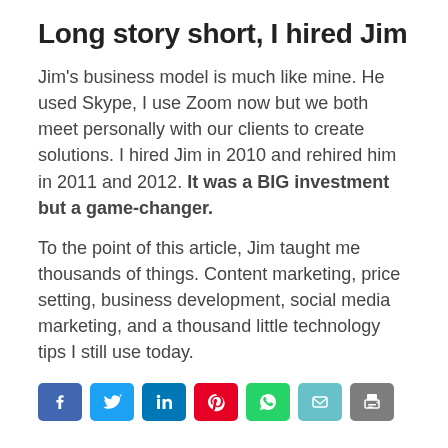Long story short, I hired Jim
Jim's business model is much like mine. He used Skype, I use Zoom now but we both meet personally with our clients to create solutions. I hired Jim in 2010 and rehired him in 2011 and 2012. It was a BIG investment but a game-changer.
To the point of this article, Jim taught me thousands of things. Content marketing, price setting, business development, social media marketing, and a thousand little technology tips I still use today.
[Figure (infographic): Social share buttons row: Facebook (blue), Twitter (light blue), LinkedIn (blue), Pinterest (red), WhatsApp (green), Email (teal), Print (gray)]